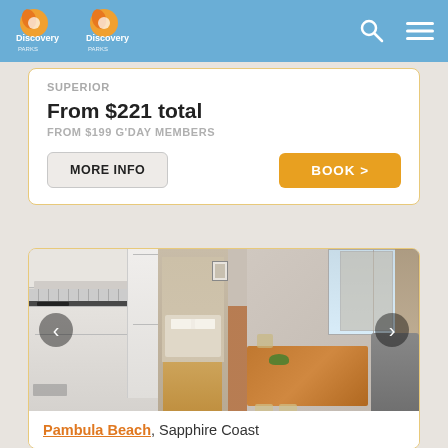Discovery Parks (logo, navigation bar)
SUPERIOR
From $221 total
FROM $199 G'DAY MEMBERS
MORE INFO
BOOK >
[Figure (photo): Interior photo of a holiday cabin showing an open-plan kitchen, dining area with wooden table and bowl of fruit, hardwood timber floors, a glimpse of a bedroom with bed, and a living area with sofa and window with curtains.]
Pambula Beach, Sapphire Coast